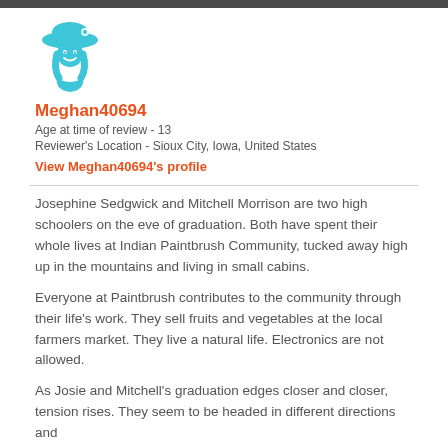[Figure (illustration): Teal/cyan cartoon avatar of a girl wearing a wide-brimmed hat with a flower, smiling face, shoulder-length hair]
Meghan40694
Age at time of review - 13
Reviewer's Location - Sioux City, Iowa, United States
View Meghan40694's profile
Josephine Sedgwick and Mitchell Morrison are two high schoolers on the eve of graduation. Both have spent their whole lives at Indian Paintbrush Community, tucked away high up in the mountains and living in small cabins.
Everyone at Paintbrush contributes to the community through their life's work. They sell fruits and vegetables at the local farmers market. They live a natural life. Electronics are not allowed.
As Josie and Mitchell's graduation edges closer and closer, tension rises. They seem to be headed in different directions and